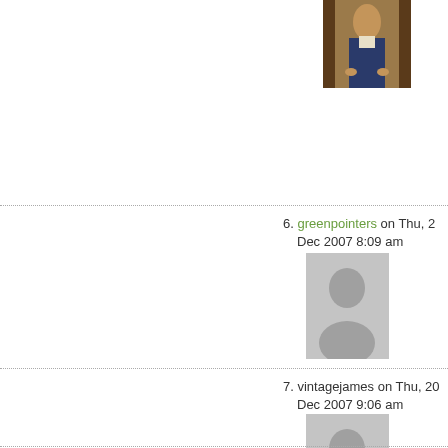[Figure (photo): Partial thumbnail of a painting showing a person, cropped at top-right corner]
6. greenpointers on Thu, 20 Dec 2007 8:09 am
[Figure (photo): Default avatar placeholder — gray square with silhouette icon for comment 6]
7. vintagejames on Thu, 20 Dec 2007 9:06 am
[Figure (photo): Default avatar placeholder — gray square with silhouette icon for comment 7]